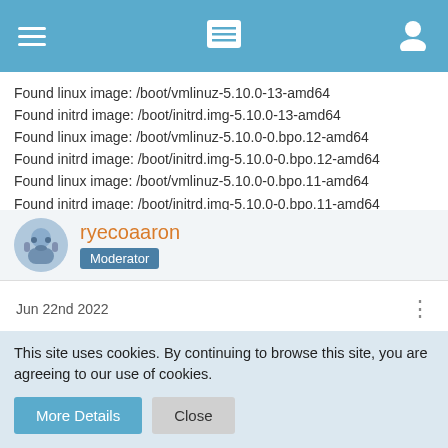Navigation header bar with hamburger menu, list icon, and user icon
Found linux image: /boot/vmlinuz-5.10.0-13-amd64
Found initrd image: /boot/initrd.img-5.10.0-13-amd64
Found linux image: /boot/vmlinuz-5.10.0-0.bpo.12-amd64
Found initrd image: /boot/initrd.img-5.10.0-0.bpo.12-amd64
Found linux image: /boot/vmlinuz-5.10.0-0.bpo.11-amd64
Found initrd image: /boot/initrd.img-5.10.0-0.bpo.11-amd64
done
ryecoaaron
Moderator
Jun 22nd 2022
I meant the sudo apt-get install linux-image-amd64/
This site uses cookies. By continuing to browse this site, you are agreeing to our use of cookies.